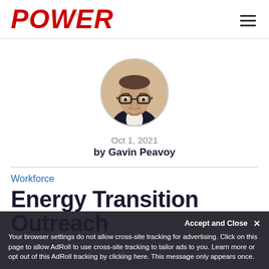POWER
[Figure (photo): Circular headshot portrait of Gavin Peavoy, a man wearing glasses and a dark suit]
Oct 1, 2021
by Gavin Peavoy
Workforce
Energy Transition Outreach
Accept and Close ×
Your browser settings do not allow cross-site tracking for advertising. Click on this page to allow AdRoll to use cross-site tracking to tailor ads to you. Learn more or opt out of this AdRoll tracking by clicking here. This message only appears once.